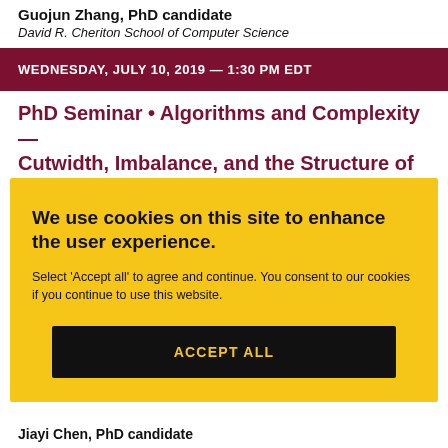Guojun Zhang, PhD candidate
David R. Cheriton School of Computer Science
WEDNESDAY, JULY 10, 2019 — 1:30 PM EDT
PhD Seminar • Algorithms and Complexity — Cutwidth, Imbalance, and the Structure of Optimal Orderings
We use cookies on this site to enhance the user experience.
Select 'Accept all' to agree and continue. You consent to our cookies if you continue to use this website.
ACCEPT ALL
Jiayi Chen, PhD candidate